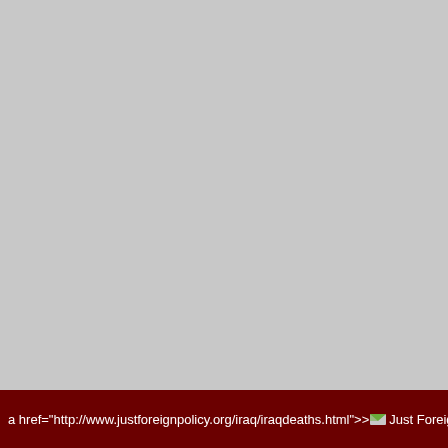[Figure (other): Large grey blank area occupying most of the page, representing an unloaded or placeholder image region.]
a href="http://www.justforeignpolicy.org/iraq/iraqdeaths.html"> Just Foreig